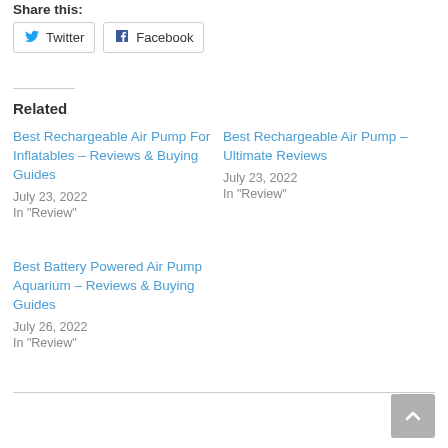Share this:
Twitter  Facebook
Related
Best Rechargeable Air Pump For Inflatables – Reviews & Buying Guides
July 23, 2022
In "Review"
Best Rechargeable Air Pump – Ultimate Reviews
July 23, 2022
In "Review"
Best Battery Powered Air Pump Aquarium – Reviews & Buying Guides
July 26, 2022
In "Review"